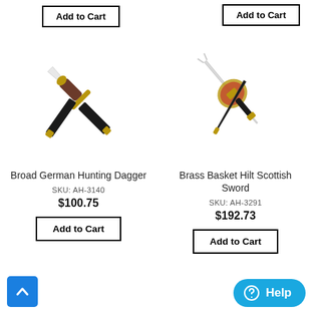Add to Cart (top left)
Add to Cart (top right)
[Figure (illustration): Broad German Hunting Dagger — a dagger with brown wooden handle, brass guard, black scabbard with gold tip, crossing with the blade]
Broad German Hunting Dagger
SKU: AH-3140
$100.75
Add to Cart
[Figure (illustration): Brass Basket Hilt Scottish Sword — a sword with red and gold basket hilt guard, two-pronged blade tip, black grip, gold pommel]
Brass Basket Hilt Scottish Sword
SKU: AH-3291
$192.73
Add to Cart